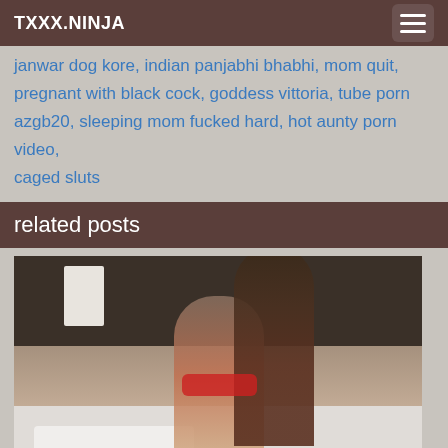TXXX.NINJA
janwar dog kore, indian panjabhi bhabhi, mom quit, pregnant with black cock, goddess vittoria, tube porn azgb20, sleeping mom fucked hard, hot aunty porn video, caged sluts
related posts
[Figure (photo): A photograph of two people in a hotel room near a bed. Watermark text reads '2dogPassion.com'.]